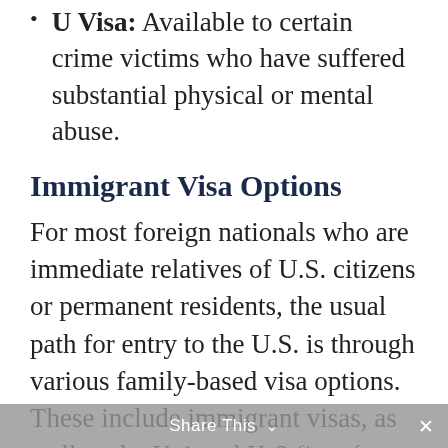U Visa: Available to certain crime victims who have suffered substantial physical or mental abuse.
Immigrant Visa Options
For most foreign nationals who are immediate relatives of U.S. citizens or permanent residents, the usual path for entry to the U.S. is through various family-based visa options. These include immigrant visas, as well as the K-1 and K-3 fiancé visas.
For foreign nationals without relatives in the U.S., employment-based visas become the best option. These are known as EB visas and include the following: